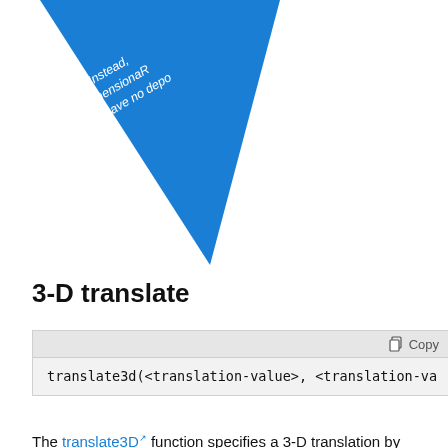[Figure (illustration): Blue triangle shape with white italic text reading 'Instead, dimensionah and have no depo' (partially visible, cropped at top of page)]
3-D translate
translate3d(<translation-value>, <translation-va
The translate3D function specifies a 3-D translation by the vector [tx,ty,tz], where tx, ty, and tz are the first, second, and third translation-value parameters respectively.
Example:
Copy